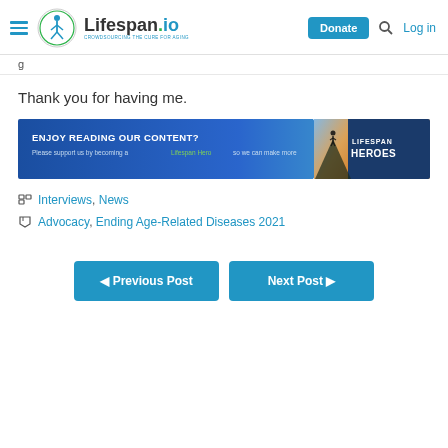Lifespan.io — Donate, Log in
Thank you for having me.
[Figure (infographic): Lifespan Heroes banner ad: 'ENJOY READING OUR CONTENT? Please support us by becoming a Lifespan Hero so we can make more' with silhouette figure and LIFESPAN HEROES text on right]
Interviews, News
Advocacy, Ending Age-Related Diseases 2021
◄ Previous Post    Next Post ►